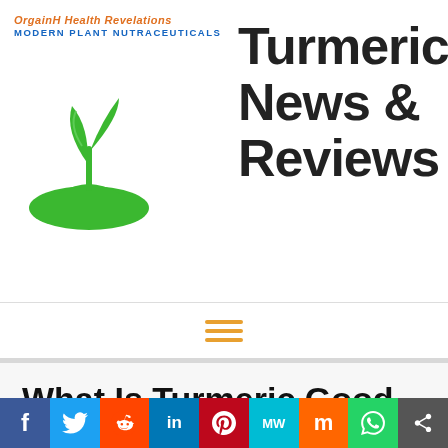[Figure (logo): OrgainH Health Revelations Modern Plant Nutraceuticals logo with green plant/hand icon]
Turmeric News & Reviews
[Figure (other): Hamburger menu icon (three orange horizontal lines)]
What Is Turmeric Good For
2 Comments / Benefits Of Turmeric / By Robert Lees
This Natural Root is being questioned worldwide with many people that wonder what turmeric is good for,
[Figure (other): Social share bar with Facebook, Twitter, Reddit, LinkedIn, Pinterest, MeWe, Mix, WhatsApp, Share buttons]